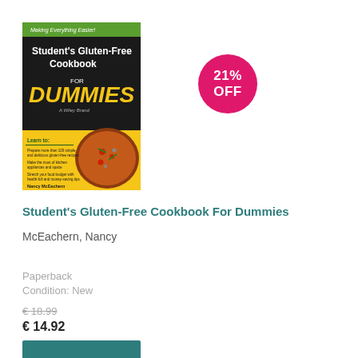[Figure (photo): Book cover of Student's Gluten-Free Cookbook For Dummies by Nancy McEachern. Black and yellow cover with an image of a pizza.]
[Figure (infographic): Circular magenta/pink discount badge showing '21% OFF' in white bold text.]
Student's Gluten-Free Cookbook For Dummies
McEachern, Nancy
Paperback
Condition: New
€ 18.99
€ 14.92